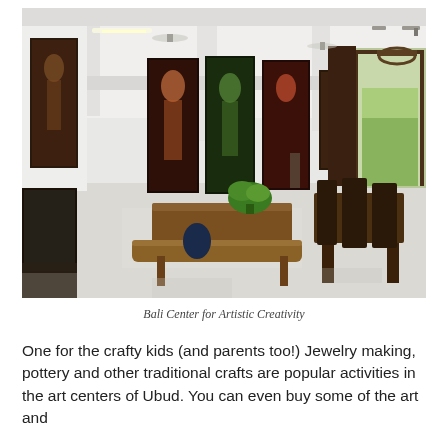[Figure (photo): Interior of the Bali Center for Artistic Creativity, showing a large bright white gallery space with high ceilings, ceiling fans, track lighting, tall colorful paintings on the walls, wooden furniture including a bench and tables, and a doorway opening to a green outdoor area.]
Bali Center for Artistic Creativity
One for the crafty kids (and parents too!) Jewelry making, pottery and other traditional crafts are popular activities in the art centers of Ubud. You can even buy some of the art and...